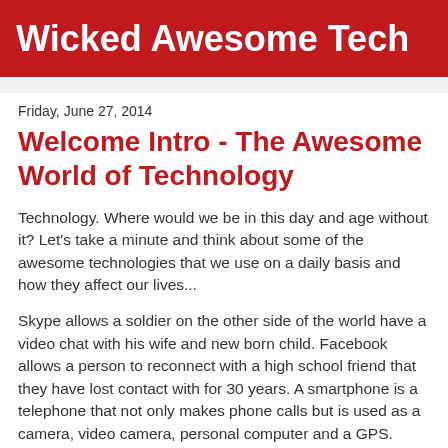Wicked Awesome Tech
Friday, June 27, 2014
Welcome Intro - The Awesome World of Technology
Technology. Where would we be in this day and age without it? Let's take a minute and think about some of the awesome technologies that we use on a daily basis and how they affect our lives...
Skype allows a soldier on the other side of the world have a video chat with his wife and new born child. Facebook allows a person to reconnect with a high school friend that they have lost contact with for 30 years. A smartphone is a telephone that not only makes phone calls but is used as a camera, video camera, personal computer and a GPS. Streaming services such as Netflix change the way we